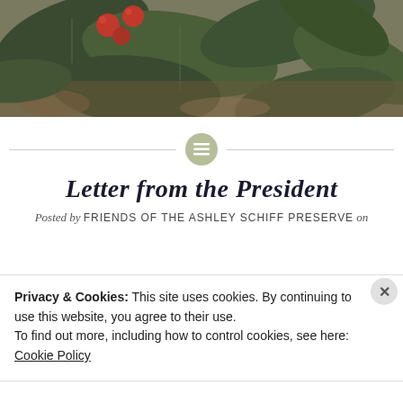[Figure (photo): Decorative banner photo showing red berries and green leaves on a nature background]
Letter from the President
Posted by FRIENDS OF THE ASHLEY SCHIFF PRESERVE on
Privacy & Cookies: This site uses cookies. By continuing to use this website, you agree to their use.
To find out more, including how to control cookies, see here: Cookie Policy
Close and accept